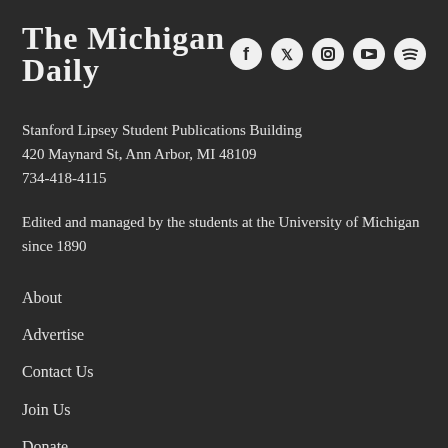The Michigan Daily
[Figure (logo): Social media icons: Facebook, Twitter, Instagram, YouTube, Spotify — white circular icons on dark background]
Stanford Lipsey Student Publications Building
420 Maynard St, Ann Arbor, MI 48109
734-418-4115
Edited and managed by the students at the University of Michigan since 1890
About
Advertise
Contact Us
Join Us
Donate